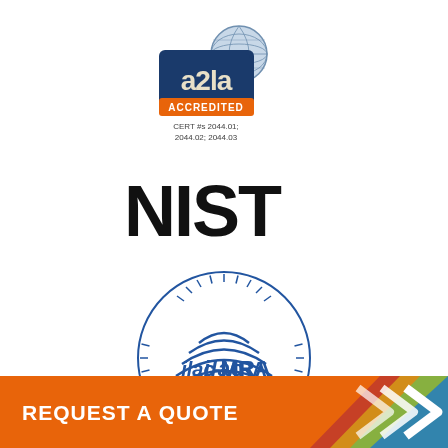[Figure (logo): A2LA Accredited logo with globe, lion, eagle, and orange banner reading ACCREDITED. Below: CERT #s 2044.01; 2044.02; 2044.03]
[Figure (logo): NIST logo in bold black sans-serif text]
[Figure (logo): ILAC-MRA circular logo with concentric wave lines and tick marks around border, blue text reading ilac-MRA]
[Figure (infographic): Orange footer bar with white text REQUEST A QUOTE and colorful chevron arrows on the right side]